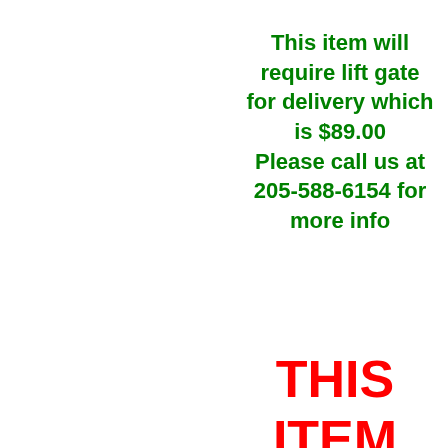This item will require lift gate for delivery which is $89.00 Please call us at 205-588-6154 for more info
THIS ITEM MUST BE